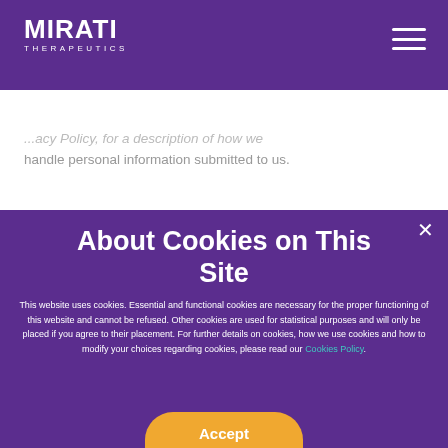MIRATI THERAPEUTICS
...handle personal information submitted to us.
About Cookies on This Site
This website uses cookies. Essential and functional cookies are necessary for the proper functioning of this website and cannot be refused. Other cookies are used for statistical purposes and will only be placed if you agree to their placement. For further details on cookies, how we use cookies and how to modify your choices regarding cookies, please read our Cookies Policy.
Accept